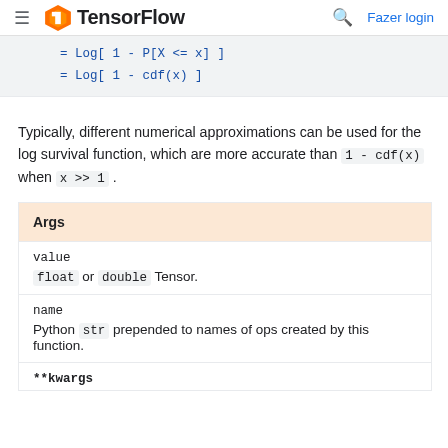TensorFlow — Fazer login
Typically, different numerical approximations can be used for the log survival function, which are more accurate than 1 - cdf(x) when x >> 1 .
| Args |
| --- |
| value |  |
|  | float or double Tensor. |
| name |  |
|  | Python str prepended to names of ops created by this function. |
| **kwargs |  |